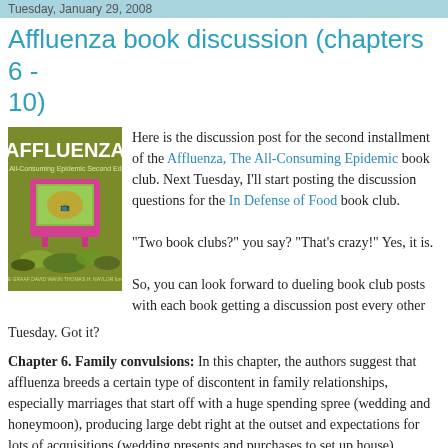Tuesday, January 29, 2008
Affluenza book discussion (chapters 6 - 10)
[Figure (photo): Book cover of Affluenza: The All-Consuming Epidemic, Second Edition, showing a television set surrounded by consumer goods on a green background]
Here is the discussion post for the second installment of the Affluenza, The All-Consuming Epidemic book club. Next Tuesday, I'll start posting the discussion questions for the In Defense of Food book club.

"Two book clubs?" you say? "That's crazy!" Yes, it is.

So, you can look forward to dueling book club posts with each book getting a discussion post every other Tuesday. Got it?
Chapter 6. Family convulsions: In this chapter, the authors suggest that affluenza breeds a certain type of discontent in family relationships, especially marriages that start off with a huge spending spree (wedding and honeymoon), producing large debt right at the outset and expectations for lots of acquisitions (wedding presents and purchases to set up house).
Family time is spent on shopping trips and people get into the mindset of